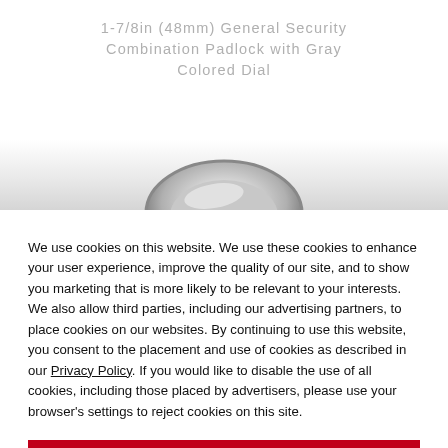1-7/8in (48mm) General Security Combination Padlock with Gray Colored Dial
[Figure (photo): Partial view of a combination padlock shackle (silver/chrome metal ring) against a gray gradient background]
We use cookies on this website. We use these cookies to enhance your user experience, improve the quality of our site, and to show you marketing that is more likely to be relevant to your interests. We also allow third parties, including our advertising partners, to place cookies on our websites. By continuing to use this website, you consent to the placement and use of cookies as described in our Privacy Policy. If you would like to disable the use of all cookies, including those placed by advertisers, please use your browser's settings to reject cookies on this site.
ACCEPT